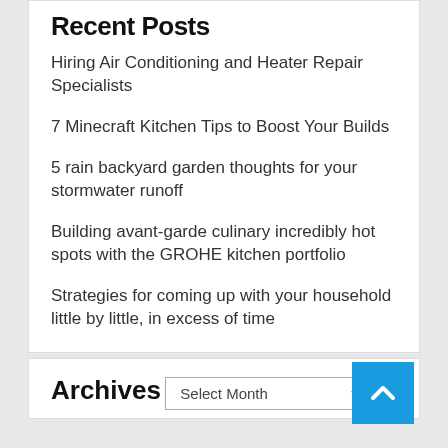Recent Posts
Hiring Air Conditioning and Heater Repair Specialists
7 Minecraft Kitchen Tips to Boost Your Builds
5 rain backyard garden thoughts for your stormwater runoff
Building avant-garde culinary incredibly hot spots with the GROHE kitchen portfolio
Strategies for coming up with your household little by little, in excess of time
Archives